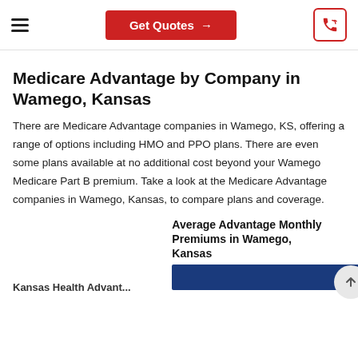Get Quotes →
Medicare Advantage by Company in Wamego, Kansas
There are Medicare Advantage companies in Wamego, KS, offering a range of options including HMO and PPO plans. There are even some plans available at no additional cost beyond your Wamego Medicare Part B premium. Take a look at the Medicare Advantage companies in Wamego, Kansas, to compare plans and coverage.
Average Advantage Monthly Premiums in Wamego, Kansas
[Figure (bar-chart): Partial bar chart showing Average Advantage Monthly Premiums in Wamego, Kansas — blue bar visible at bottom]